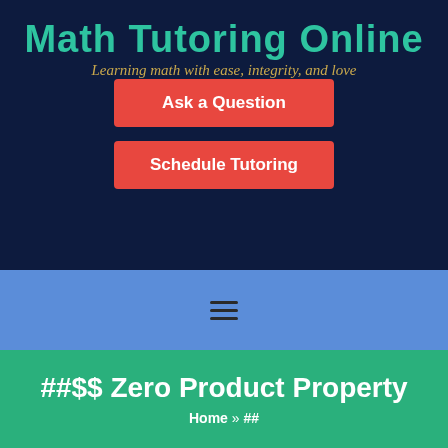Math Tutoring Online
Learning math with ease, integrity, and love
Ask a Question
Schedule Tutoring
[Figure (other): Hamburger menu icon (three horizontal lines)]
##$$ Zero Product Property
Home » ##
Arithmetic » ##$$ Zero Product Property